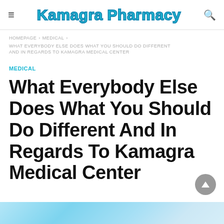Kamagra Pharmacy
HOMEPAGE › MEDICAL › WHAT EVERYBODY ELSE DOES WHAT YOU SHOULD DO DIFFERENT AND IN REGARDS TO KAMAGRA MEDICAL CENTER
MEDICAL
What Everybody Else Does What You Should Do Different And In Regards To Kamagra Medical Center
[Figure (photo): Light blue medical/pharmacy themed image strip at bottom of page]